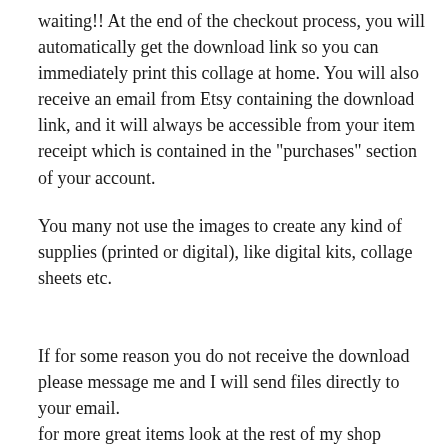waiting!! At the end of the checkout process, you will automatically get the download link so you can immediately print this collage at home. You will also receive an email from Etsy containing the download link, and it will always be accessible from your item receipt which is contained in the "purchases" section of your account.
You many not use the images to create any kind of supplies (printed or digital), like digital kits, collage sheets etc.
If for some reason you do not receive the download please message me and I will send files directly to your email.
for more great items look at the rest of my shop
check out the rest of my shop